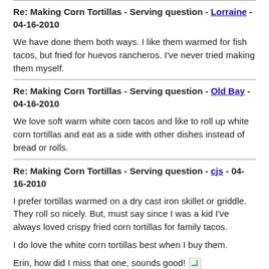Re: Making Corn Tortillas - Serving question - Lorraine - 04-16-2010
We have done them both ways. I like them warmed for fish tacos, but fried for huevos rancheros. I've never tried making them myself.
Re: Making Corn Tortillas - Serving question - Old Bay - 04-16-2010
We love soft warm white corn tacos and like to roll up white corn tortillas and eat as a side with other dishes instead of bread or rolls.
Re: Making Corn Tortillas - Serving question - cjs - 04-16-2010
I prefer tortillas warmed on a dry cast iron skillet or griddle. They roll so nicely. But, must say since I was a kid I've always loved crispy fried corn tortillas for family tacos.

I do love the white corn tortillas best when I buy them.

Erin, how did I miss that one, sounds good! [image]

Laura, thanks for the mention of these, I hadn't looked at my F&W magazine until last night ( [image] ) and was so surprised to see so many taco ideas - boy, am I going to be busy!!